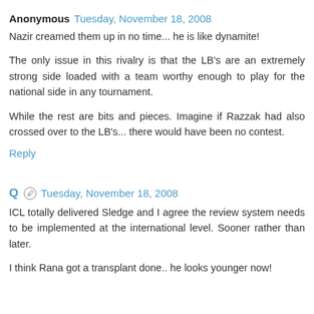Anonymous  Tuesday, November 18, 2008
Nazir creamed them up in no time... he is like dynamite!

The only issue in this rivalry is that the LB's are an extremely strong side loaded with a team worthy enough to play for the national side in any tournament.

While the rest are bits and pieces. Imagine if Razzak had also crossed over to the LB's... there would have been no contest.
Reply
Q  Tuesday, November 18, 2008
ICL totally delivered Sledge and I agree the review system needs to be implemented at the international level. Sooner rather than later.

I think Rana got a transplant done.. he looks younger now!